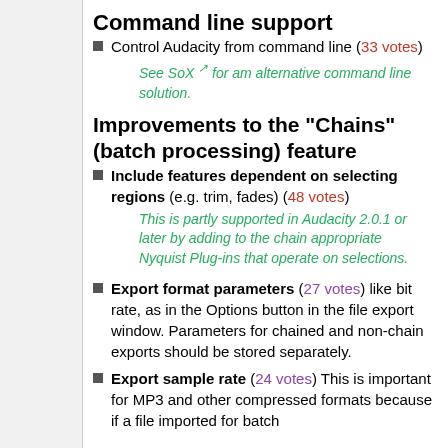Command line support
Control Audacity from command line (33 votes)
See SoX for am alternative command line solution.
Improvements to the "Chains" (batch processing) feature
Include features dependent on selecting regions (e.g. trim, fades) (48 votes)
This is partly supported in Audacity 2.0.1 or later by adding to the chain appropriate Nyquist Plug-ins that operate on selections.
Export format parameters (27 votes) like bit rate, as in the Options button in the file export window. Parameters for chained and non-chain exports should be stored separately.
Export sample rate (24 votes) This is important for MP3 and other compressed formats because if a file imported for batch